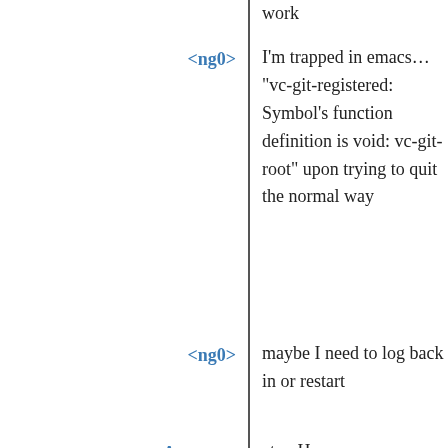work
<ng0> I'm trapped in emacs… "vc-git-registered: Symbol's function definition is void: vc-git-root" upon trying to quit the normal way
<ng0> maybe I need to log back in or restart
<Apteryx> atw: Have you considered a Librem laptop? They run coreboot and the chips are selected carefully so that everything runs smoothly on free